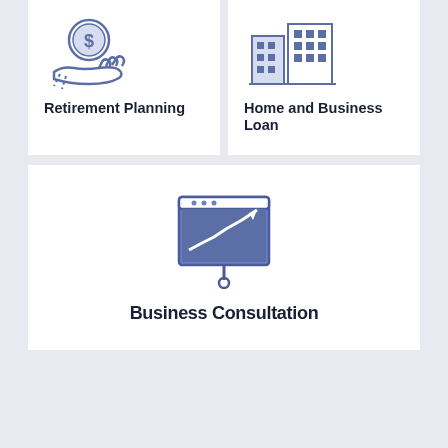[Figure (illustration): Hand holding a coin with dollar sign icon, representing Retirement Planning]
Retirement Planning
[Figure (illustration): Building/office icon representing Home and Business Loan]
Home and Business Loan
[Figure (illustration): Presentation board with upward trending chart icon representing Business Consultation]
Business Consultation